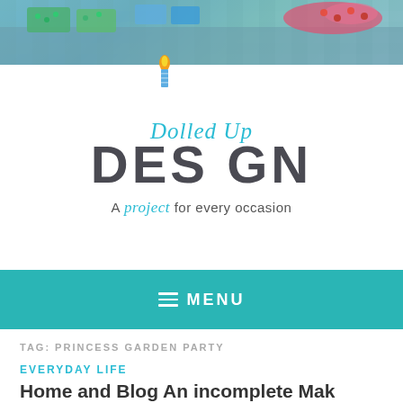[Figure (photo): Hero banner image showing a candy/dessert table with colorful sweets arranged on a stone surface, teal and green tones.]
[Figure (logo): Dolled Up Design logo — 'Dolled Up' in teal italic script, 'DESIGN' in large bold dark uppercase letters with a candle flame replacing the letter I, tagline: 'A project for every occasion']
≡ MENU
TAG: PRINCESS GARDEN PARTY
EVERYDAY LIFE
Home and Blog An incomplete Mak…